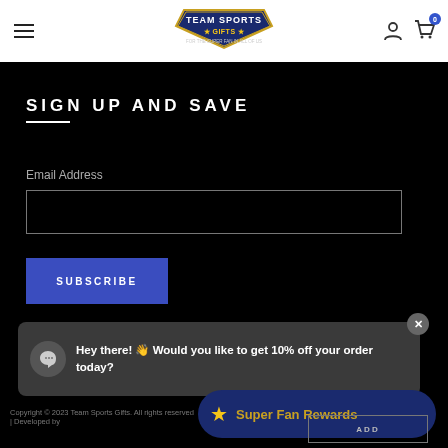[Figure (logo): Team Sports Gifts logo in header]
SIGN UP AND SAVE
Email Address
SUBSCRIBE
Hey there! 👋 Would you like to get 10% off your order today?
Copyright © 2023 Team Sports Gifts. All rights reserved. | Developed by
Super Fan Rewards
ADD